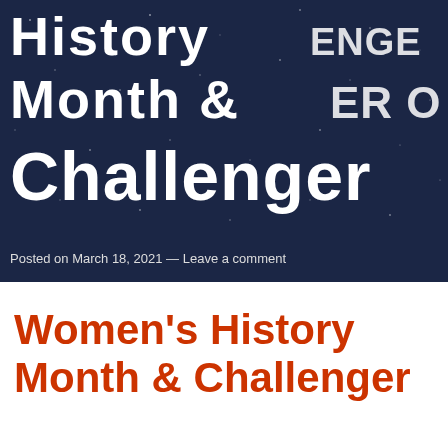[Figure (photo): Dark navy blue background image with white large bold text overlaid showing partial text: 'History Challenge', 'Month &ER O', 'Challenger' — appears to be a banner/hero image for a blog post about Women's History Month & Challenger. Stars or noise texture visible on background.]
Posted on March 18, 2021 — Leave a comment
Women's History Month & Challenger